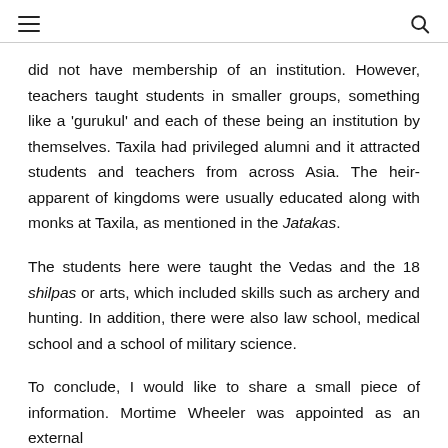[hamburger menu] [search icon]
did not have membership of an institution. However, teachers taught students in smaller groups, something like a ‘gurukul’ and each of these being an institution by themselves. Taxila had privileged alumni and it attracted students and teachers from across Asia. The heir-apparent of kingdoms were usually educated along with monks at Taxila, as mentioned in the Jatakas.
The students here were taught the Vedas and the 18 shilpas or arts, which included skills such as archery and hunting. In addition, there were also law school, medical school and a school of military science.
To conclude, I would like to share a small piece of information. Mortime Wheeler was appointed as an external